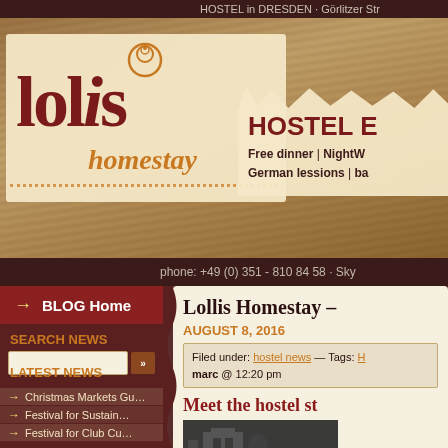HOSTEL in DRESDEN · Görlitzer Str
[Figure (logo): Lollis Homestay logo with decorative swirl, text 'lollis' in dark red serif font and 'homestay' in orange italic, on cream background with orange dotted line]
HOSTEL E
Free dinner | NightW
German lessions | ba
phone: +49 (0) 351 - 810 84 58 · Sky
→ BLOG Home
SEARCH NEWS
LATEST NEWS
Christmas Markets Gu…
Festival for Sustain…
Festival for Club Cu…
Did you know?…
subcultours starts i…
Museums Night on 16.…
Hechtfest 25. to 27.…
Alaunpark football C…
Lollis Homestay –
AUGUST 8, 2016
Filed under: hostel news — Tags: H
marc @ 12:20 pm
Meet the hostel st
[Figure (photo): Black and white photo of hostel building exterior]